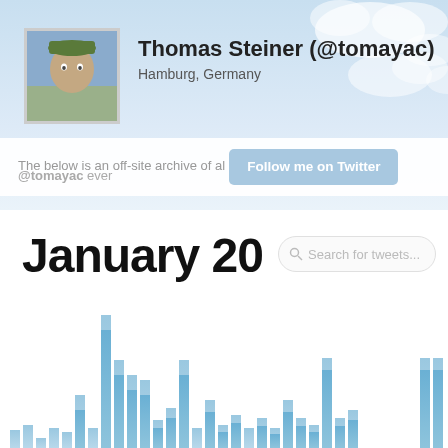[Figure (screenshot): Twitter profile header with sky/clouds background showing Thomas Steiner (@tomayac) from Hamburg, Germany with profile photo]
The below is an off-site archive of all tweets @tomayac ever
Follow me on Twitter
January 20
Search for tweets...
[Figure (bar-chart): Bar chart showing tweet counts per day in January, with varying heights. Taller bars appear in the middle-right portion of the chart. Bars are light blue colored.]